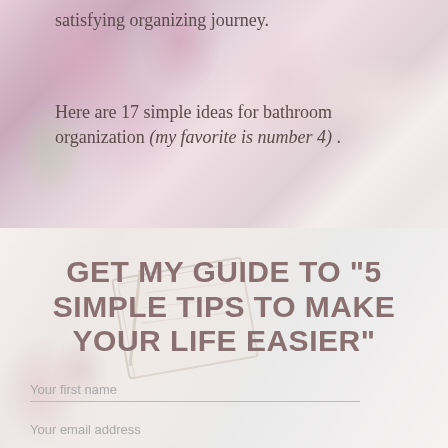[Figure (photo): Background photo of pink hydrangea flowers in glass vases with blurred white background, light and airy bathroom/home decor style]
satisfying organizing journey.
Here are 17 simple ideas for bathroom organization (my favorite is number 4) .
[Figure (photo): Background image of light/white home decor with a book or notebook and floral arrangement, semi-transparent overlay forming the signup form section]
GET MY GUIDE TO "5 SIMPLE TIPS TO MAKE YOUR LIFE EASIER"
Your first name
Your email address